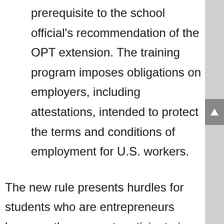prerequisite to the school official's recommendation of the OPT extension. The training program imposes obligations on employers, including attestations, intended to protect the terms and conditions of employment for U.S. workers.
The new rule presents hurdles for students who are entrepreneurs because they cannot participate in a self-employment situation. The training program must be signed on the employer's behalf by